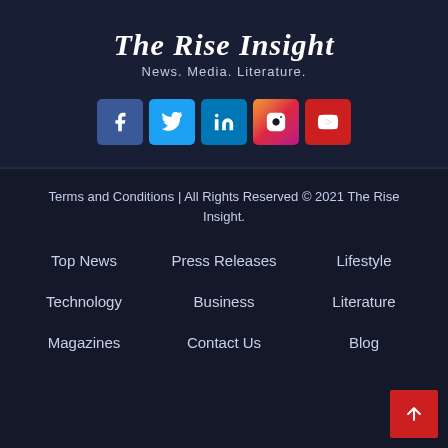The Rise Insight
News. Media. Literature.
[Figure (other): Social media icons: Facebook, Twitter, LinkedIn, Instagram, YouTube]
Terms and Conditions | All Rights Reserved © 2021 The Rise Insight.
Top News
Press Releases
Lifestyle
Technology
Business
Literature
Magazines
Contact Us
Blog